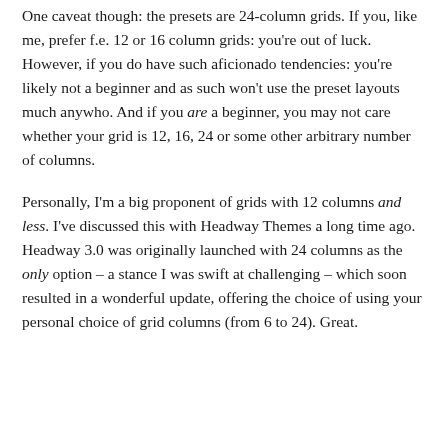One caveat though: the presets are 24-column grids. If you, like me, prefer f.e. 12 or 16 column grids: you're out of luck. However, if you do have such aficionado tendencies: you're likely not a beginner and as such won't use the preset layouts much anywho. And if you are a beginner, you may not care whether your grid is 12, 16, 24 or some other arbitrary number of columns.
Personally, I'm a big proponent of grids with 12 columns and less. I've discussed this with Headway Themes a long time ago. Headway 3.0 was originally launched with 24 columns as the only option – a stance I was swift at challenging – which soon resulted in a wonderful update, offering the choice of using your personal choice of grid columns (from 6 to 24). Great.